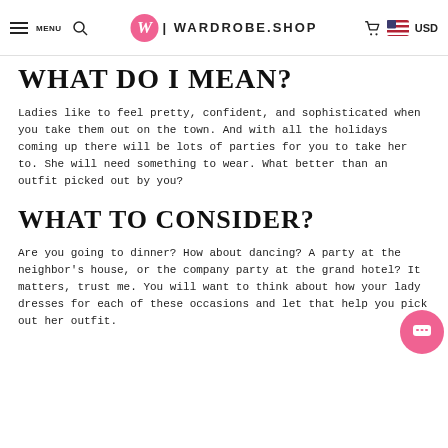MENU | WARDROBE.SHOP | USD
WHAT DO I MEAN?
Ladies like to feel pretty, confident, and sophisticated when you take them out on the town. And with all the holidays coming up there will be lots of parties for you to take her to. She will need something to wear. What better than an outfit picked out by you?
WHAT TO CONSIDER?
Are you going to dinner? How about dancing? A party at the neighbor's house, or the company party at the grand hotel? It matters, trust me. You will want to think about how your lady dresses for each of these occasions and let that help you pick out her outfit.